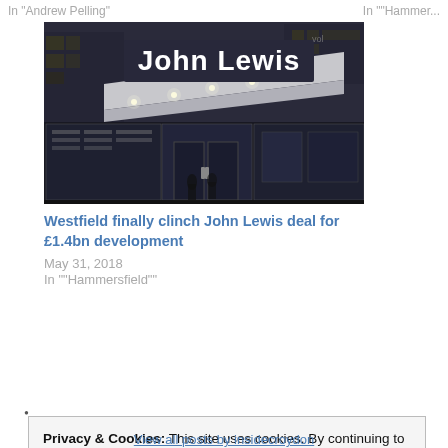In "Andrew Pelling"
In ""Hammer...
[Figure (photo): Exterior night photo of a John Lewis department store with large illuminated 'John Lewis' sign on a curved glass and metal facade]
Westfield finally clinch John Lewis deal for £1.4bn development
May 31, 2018
In ""Hammersfield""
•
Privacy & Cookies: This site uses cookies. By continuing to use this website, you agree to their use.
To find out more, including how to control cookies, see here:
Cookie Policy
Close and accept
View all posts by insidecroydon